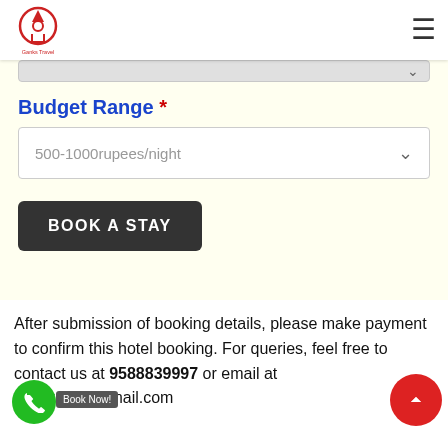[Figure (logo): Ganks Travel logo with circular symbol in red and text below]
Budget Range *
500-1000rupees/night
BOOK A STAY
After submission of booking details, please make payment to confirm this hotel booking. For queries, feel free to contact us at 9588839997 or email at go...travel@gmail.com